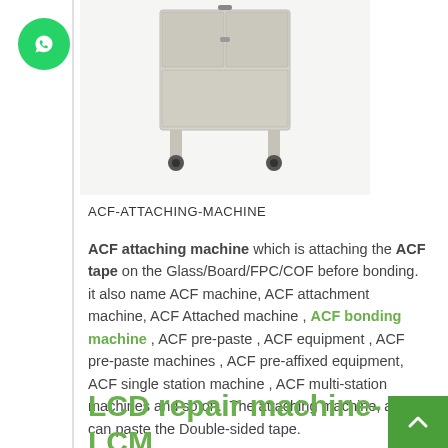[Figure (photo): ACF attaching machine — a tall grey cabinet on wheels with two upper doors]
ACF-ATTACHING-MACHINE
ACF attaching machine which is attaching the ACF tape on the Glass/Board/FPC/COF before bonding. it also name ACF machine, ACF attachment machine, ACF Attached machine , ACF bonding machine , ACF pre-paste , ACF equipment , ACF pre-paste machines , ACF pre-affixed equipment, ACF single station machine , ACF multi-station machines and so on.  The attaching machine, also can paste the Double-sided tape.
LCD repair machine-LCM Making machines